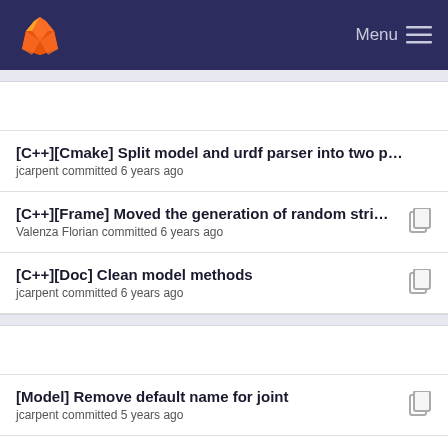Menu
[C++][Cmake] Split model and urdf parser into two p... jcarpent committed 6 years ago
[C++][Frame] Moved the generation of random stri... Valenza Florian committed 6 years ago
[C++][Doc] Clean model methods jcarpent committed 6 years ago
[Model] Remove default name for joint jcarpent committed 5 years ago
[C++][Doc] Clean model methods jcarpent committed 6 years ago
[Model] Remove default name for joint